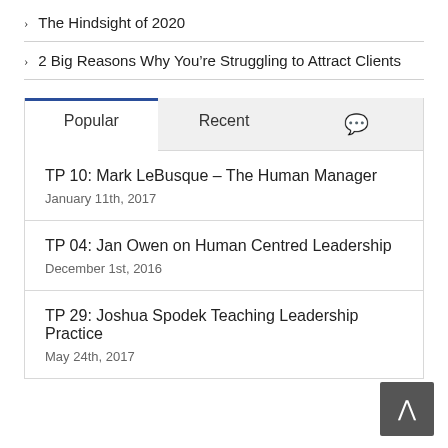> The Hindsight of 2020
> 2 Big Reasons Why You're Struggling to Attract Clients
Popular | Recent | [comment icon]
TP 10: Mark LeBusque – The Human Manager
January 11th, 2017
TP 04: Jan Owen on Human Centred Leadership
December 1st, 2016
TP 29: Joshua Spodek Teaching Leadership Practice
May 24th, 2017